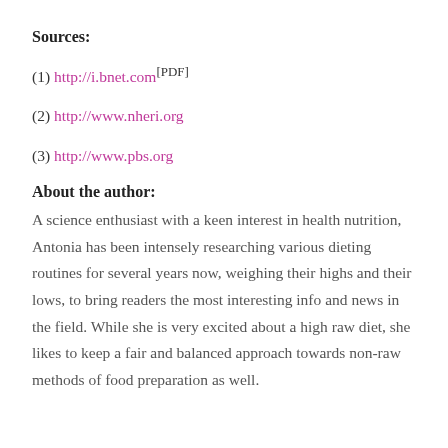Sources:
(1) http://i.bnet.com[PDF]
(2) http://www.nheri.org
(3) http://www.pbs.org
About the author:
A science enthusiast with a keen interest in health nutrition, Antonia has been intensely researching various dieting routines for several years now, weighing their highs and their lows, to bring readers the most interesting info and news in the field. While she is very excited about a high raw diet, she likes to keep a fair and balanced approach towards non-raw methods of food preparation as well.